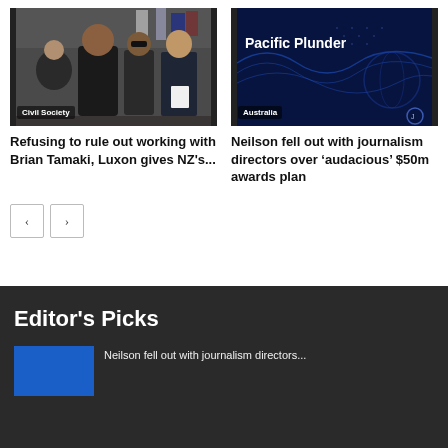[Figure (photo): People walking outdoors near flags, Civil Society badge]
[Figure (photo): Dark blue graphic with text Pacific Plunder, Australia badge]
Refusing to rule out working with Brian Tamaki, Luxon gives NZ's...
Neilson fell out with journalism directors over ‘audacious’ $50m awards plan
Editor's Picks
Neilson fell out with journalism directors...